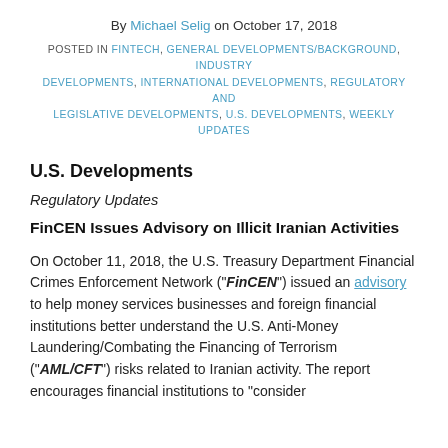By Michael Selig on October 17, 2018
POSTED IN FINTECH, GENERAL DEVELOPMENTS/BACKGROUND, INDUSTRY DEVELOPMENTS, INTERNATIONAL DEVELOPMENTS, REGULATORY AND LEGISLATIVE DEVELOPMENTS, U.S. DEVELOPMENTS, WEEKLY UPDATES
U.S. Developments
Regulatory Updates
FinCEN Issues Advisory on Illicit Iranian Activities
On October 11, 2018, the U.S. Treasury Department Financial Crimes Enforcement Network ("FinCEN") issued an advisory to help money services businesses and foreign financial institutions better understand the U.S. Anti-Money Laundering/Combating the Financing of Terrorism ("AML/CFT") risks related to Iranian activity. The report encourages financial institutions to "consider